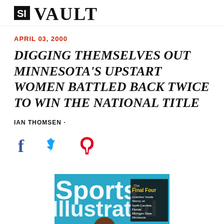VAULT
APRIL 03, 2000
DIGGING THEMSELVES OUT MINNESOTA'S UPSTART WOMEN BATTLED BACK TWICE TO WIN THE NATIONAL TITLE
IAN THOMSEN ·
[Figure (other): Social media share icons: Facebook (blue f), Twitter (blue bird), Pinterest (red P)]
[Figure (photo): Sports Illustrated magazine cover featuring a young man in a dark jacket, with The Final Four headline and cover text mentioning North Carolina, Florida, Michigan State, Minnesota]